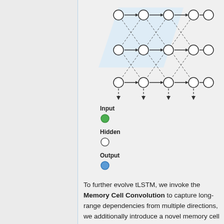[Figure (network-graph): A neural network diagram showing a grid of nodes (circles) connected by solid horizontal/rightward arrows and dashed diagonal arrows, with a light blue shaded region. Nodes in rows are connected left-to-right. Dashed arrows extend diagonally to adjacent rows. Bottom row has downward dashed arrows indicating inputs.]
Input (green filled circle), Hidden (empty circle), Output (blue filled circle)
To further evolve tLSTM, we invoke the Memory Cell Convolution to capture long-range dependencies from multiple directions, we additionally introduce a novel memory cell convolution, by which the memory cells can have a larger receptive field (figure provided below).